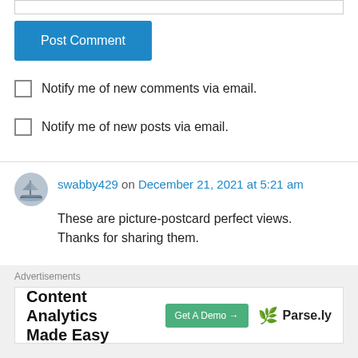[Figure (other): Top text input border/field (partially visible)]
Post Comment
Notify me of new comments via email.
Notify me of new posts via email.
swabby429 on December 21, 2021 at 5:21 am
[Figure (photo): User avatar: circular photo of a tall ship/sailing vessel]
These are picture-postcard perfect views. Thanks for sharing them.
Liked by 1 person
Reply
Advertisements
Content Analytics Made Easy
Get A Demo →
Parse.ly